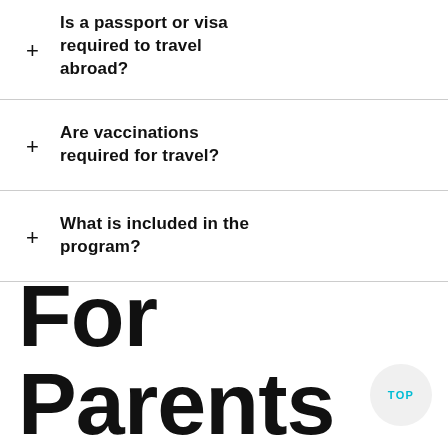Is a passport or visa required to travel abroad?
Are vaccinations required for travel?
What is included in the program?
For Parents